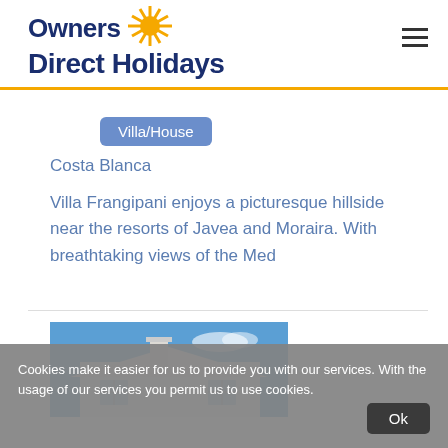Owners Direct Holidays
Villa/House
Costa Blanca
Villa Frangipani enjoys a picturesque hillside near the resorts of Javea and Moraira. With breathtaking views of the Med
[Figure (photo): Partial view of a white villa rooftop with chimney against a blue sky]
Cookies make it easier for us to provide you with our services. With the usage of our services you permit us to use cookies.